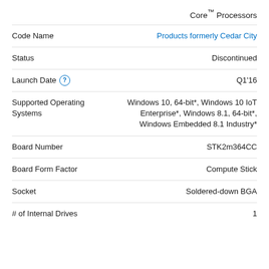Core™ Processors
Code Name: Products formerly Cedar City
Status: Discontinued
Launch Date: Q1'16
Supported Operating Systems: Windows 10, 64-bit*, Windows 10 IoT Enterprise*, Windows 8.1, 64-bit*, Windows Embedded 8.1 Industry*
Board Number: STK2m364CC
Board Form Factor: Compute Stick
Socket: Soldered-down BGA
# of Internal Drives: 1